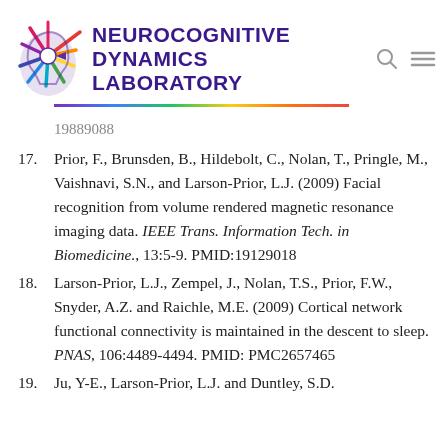[Figure (logo): Neurocognitive Dynamics Laboratory logo with colorful brain/head silhouette and lab name in purple bold uppercase text, with rainbow gradient line underneath]
17. Prior, F., Brunsden, B., Hildebolt, C., Nolan, T., Pringle, M., Vaishnavi, S.N., and Larson-Prior, L.J. (2009) Facial recognition from volume rendered magnetic resonance imaging data. IEEE Trans. Information Tech. in Biomedicine., 13:5-9. PMID:19129018
18. Larson-Prior, L.J., Zempel, J., Nolan, T.S., Prior, F.W., Snyder, A.Z. and Raichle, M.E. (2009) Cortical network functional connectivity is maintained in the descent to sleep. PNAS, 106:4489-4494. PMID: PMC2657465
19. Ju, Y-E., Larson-Prior, L.J. and Duntley, S.D.